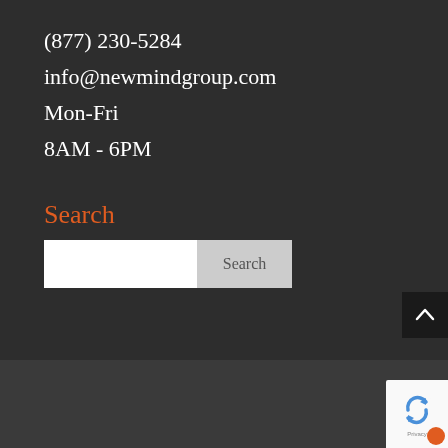(877) 230-5284
info@newmindgroup.com
Mon-Fri
8AM - 6PM
Search
[Figure (screenshot): Search input box with white text field and gray Search button]
[Figure (other): Back to top button with upward caret arrow]
Home   Culture   Jobs   Blog   Sitemap   Privacy Policy
[Figure (logo): reCAPTCHA privacy badge with Google logo]